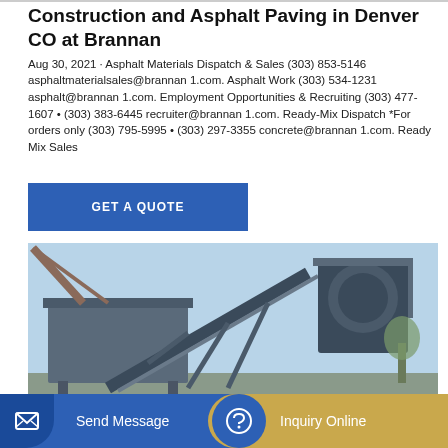Construction and Asphalt Paving in Denver CO at Brannan
Aug 30, 2021 · Asphalt Materials Dispatch & Sales (303) 853-5146 asphaltmaterialsales@brannan 1.com. Asphalt Work (303) 534-1231 asphalt@brannan 1.com. Employment Opportunities & Recruiting (303) 477-1607 • (303) 383-6445 recruiter@brannan 1.com. Ready-Mix Dispatch *For orders only (303) 795-5995 • (303) 297-3355 concrete@brannan 1.com. Ready Mix Sales
[Figure (other): Blue button with text GET A QUOTE]
[Figure (photo): Industrial construction/asphalt machinery — conveyor belt system and aggregate hopper against a blue sky with trees]
[Figure (other): Bottom navigation bar with 'Send Message' button (blue) on the left and 'Inquiry Online' button (gold) on the right]